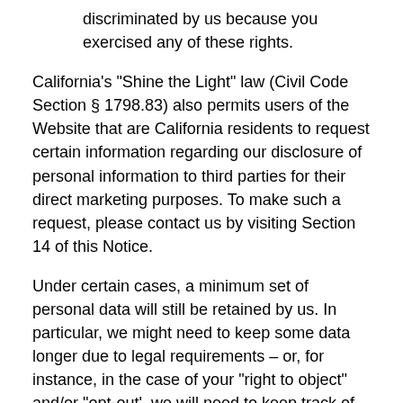discriminated by us because you exercised any of these rights.
California's "Shine the Light" law (Civil Code Section § 1798.83) also permits users of the Website that are California residents to request certain information regarding our disclosure of personal information to third parties for their direct marketing purposes. To make such a request, please contact us by visiting Section 14 of this Notice.
Under certain cases, a minimum set of personal data will still be retained by us. In particular, we might need to keep some data longer due to legal requirements – or, for instance, in the case of your "right to object" and/or "opt-out', we will need to keep track of who opted-out from the relevant processing operation.
FLPPDPP (ARCO Rights)